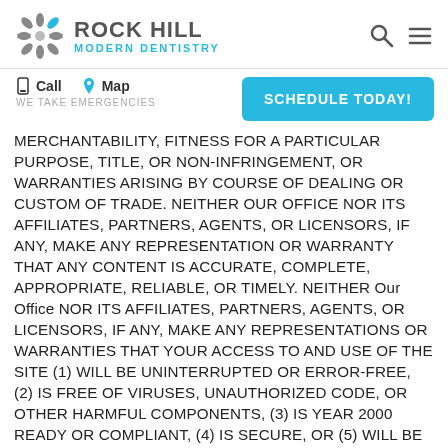[Figure (logo): Rock Hill Modern Dentistry logo with stylized asterisk/snowflake icon in gray and blue, company name in gray 'ROCK HILL' and 'MODERN DENTISTRY' in blue]
Call  Map  WE TAKE EMERGENCIES  SCHEDULE TODAY!
MERCHANTABILITY, FITNESS FOR A PARTICULAR PURPOSE, TITLE, OR NON-INFRINGEMENT, OR WARRANTIES ARISING BY COURSE OF DEALING OR CUSTOM OF TRADE. NEITHER OUR OFFICE NOR ITS AFFILIATES, PARTNERS, AGENTS, OR LICENSORS, IF ANY, MAKE ANY REPRESENTATION OR WARRANTY THAT ANY CONTENT IS ACCURATE, COMPLETE, APPROPRIATE, RELIABLE, OR TIMELY. NEITHER Our Office NOR ITS AFFILIATES, PARTNERS, AGENTS, OR LICENSORS, IF ANY, MAKE ANY REPRESENTATIONS OR WARRANTIES THAT YOUR ACCESS TO AND USE OF THE SITE (1) WILL BE UNINTERRUPTED OR ERROR-FREE, (2) IS FREE OF VIRUSES, UNAUTHORIZED CODE, OR OTHER HARMFUL COMPONENTS, (3) IS YEAR 2000 READY OR COMPLIANT, (4) IS SECURE, OR (5) WILL BE AVAILABLE AT ANY TIME OR